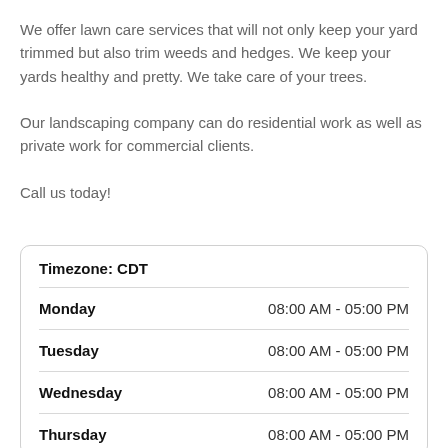We offer lawn care services that will not only keep your yard trimmed but also trim weeds and hedges. We keep your yards healthy and pretty. We take care of your trees.
Our landscaping company can do residential work as well as private work for commercial clients.
Call us today!
| Day | Hours |
| --- | --- |
| Timezone: CDT |  |
| Monday | 08:00 AM - 05:00 PM |
| Tuesday | 08:00 AM - 05:00 PM |
| Wednesday | 08:00 AM - 05:00 PM |
| Thursday | 08:00 AM - 05:00 PM |